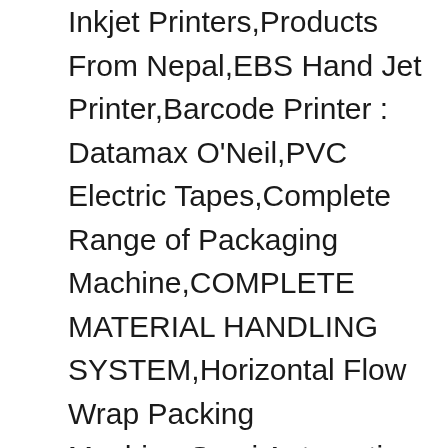Inkjet Printers,Products From Nepal,EBS Hand Jet Printer,Barcode Printer : Datamax O'Neil,PVC Electric Tapes,Complete Range of Packaging Machine,COMPLETE MATERIAL HANDLING SYSTEM,Horizontal Flow Wrap Packing Machine,Semi Automatic Packing Machine,Semi … The wide working… 5.00 from 1 votes Symbol LS1203 General Purpose Bar Code Scanner in Barcode Scanner 10858 hits . Creating Value In Hospital Supplies +919810822688 +919717122688. We have carved out a position in manufacturing, trading, exporting and supplying an enormous range of Barcode Scanners. Bar Code Reader. Barcode Scanner collects barcode data. Almost every question and negative review comment is